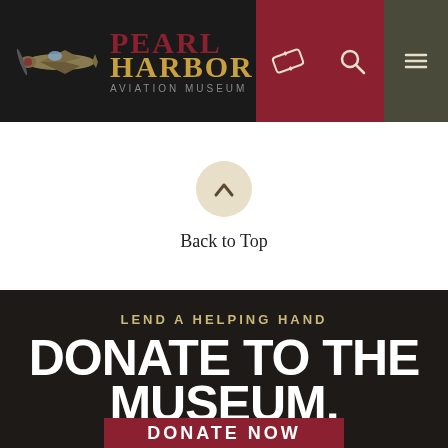[Figure (logo): Pearl Harbor Aviation Museum logo with WWII airplane silhouette, 'PEARL HARBOR' in dark red and gold serif font, 'AVIATION MUSEUM' in grey below]
[Figure (screenshot): Navigation bar with ticket icon (dark red background), search icon (dark red background), and hamburger menu icon (olive/dark background)]
Back to Top
LEND A HELPING HAND
DONATE TO THE MUSEUM.
DONATE NOW